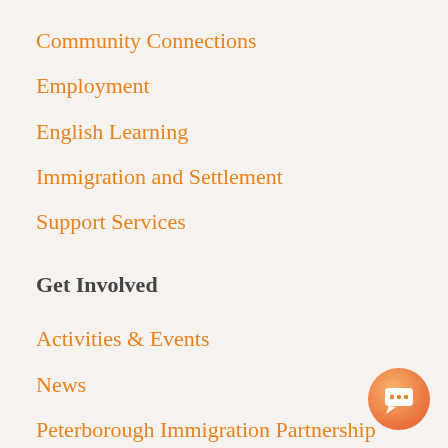Community Connections
Employment
English Learning
Immigration and Settlement
Support Services
Get Involved
Activities & Events
News
Peterborough Immigration Partnership
Support the NCC
Volunteer